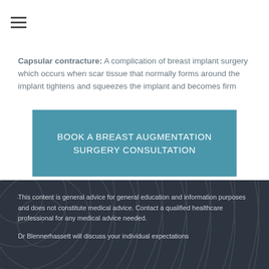Capsular contracture: A complication of breast implant surgery which occurs when scar tissue that normally forms around the implant tightens and squeezes the implant and becomes firm
BOOK A BREAST AUGMENTATION SURGERY CONSULTATION
This content is general advice for general education and information purposes and does not constitute medical advice. Contact a qualified healthcare professional for any medical advice needed.
Dr Blennerhassett will discuss your individual expectations